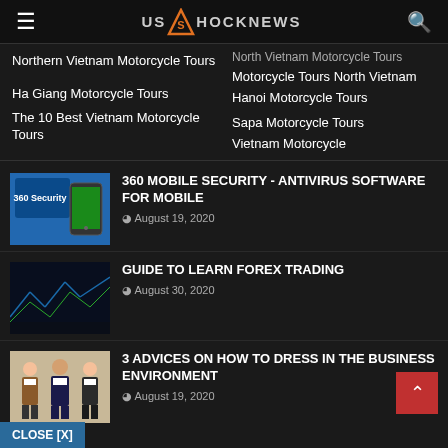USSHOCKNEWS
Northern Vietnam Motorcycle Tours
North Vietnam Motorcycle Tours
Motorcycle Tours North Vietnam
Hanoi Motorcycle Tours
Ha Giang Motorcycle Tours
Sapa Motorcycle Tours
The 10 Best Vietnam Motorcycle Tours
Vietnam Motorcycle
360 MOBILE SECURITY - ANTIVIRUS SOFTWARE FOR MOBILE
August 19, 2020
GUIDE TO LEARN FOREX TRADING
August 30, 2020
3 ADVICES ON HOW TO DRESS IN THE BUSINESS ENVIRONMENT
August 19, 2020